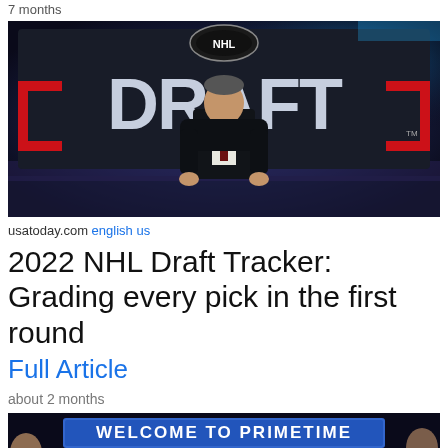7 months
[Figure (photo): Man in suit standing in front of NHL Draft logo backdrop with large letters spelling DRAFT]
usatoday.com english us
2022 NHL Draft Tracker: Grading every pick in the first round
Full Article
about 2 months
[Figure (photo): Blue banner reading WELCOME TO PRIMETIME at an NHL event]